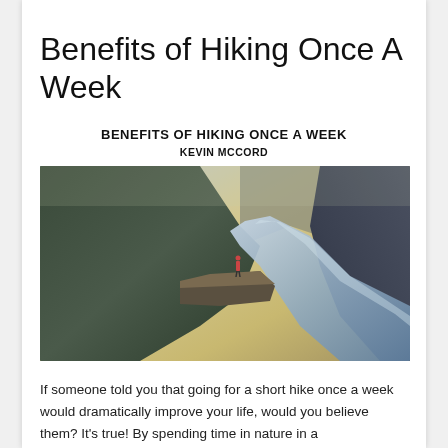Benefits of Hiking Once A Week
BENEFITS OF HIKING ONCE A WEEK
KEVIN MCCORD
[Figure (photo): Person standing on a rocky cliff ledge overlooking a dramatic mountain landscape with a winding river below, misty mountains in the background, scenic nature photography.]
If someone told you that going for a short hike once a week would dramatically improve your life, would you believe them? It’s true! By spending time in nature in a...